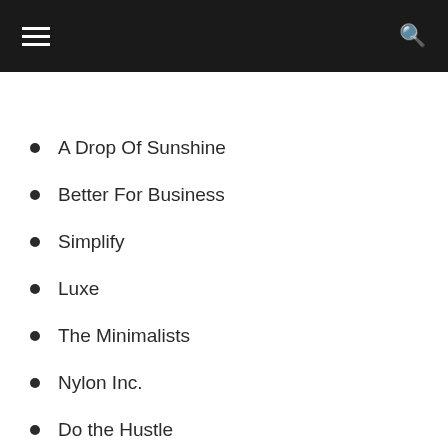A Drop Of Sunshine
Better For Business
Simplify
Luxe
The Minimalists
Nylon Inc.
Do the Hustle
Super Minimalist
Change It All
Zolu.
The Beige Boys.
The Minimal Views
Zeros and Ones